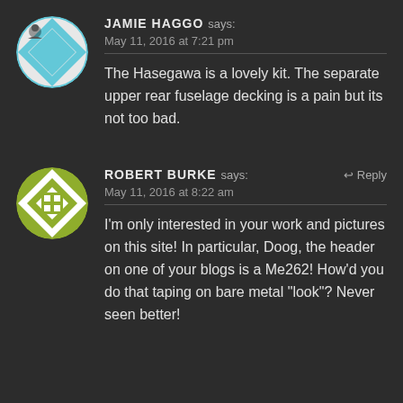JAMIE HAGGO says: May 11, 2016 at 7:21 pm
The Hasegawa is a lovely kit. The separate upper rear fuselage decking is a pain but its not too bad.
ROBERT BURKE says: May 11, 2016 at 8:22 am
I'm only interested in your work and pictures on this site! In particular, Doog, the header on one of your blogs is a Me262! How'd you do that taping on bare metal "look"? Never seen better!